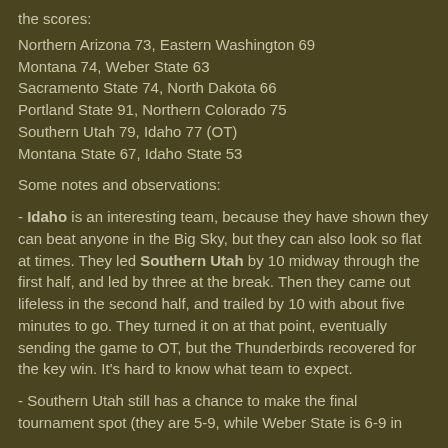the scores:
Northern Arizona 73, Eastern Washington 69
Montana 74, Weber State 63
Sacramento State 74, North Dakota 66
Portland State 91, Northern Colorado 75
Southern Utah 79, Idaho 77 (OT)
Montana State 67, Idaho State 53
Some notes and observations:
- Idaho is an interesting team, because they have shown they can beat anyone in the Big Sky, but they can also look so flat at times. They led Southern Utah by 10 midway through the first half, and led by three at the break. Then they came out lifeless in the second half, and trailed by 10 with about five minutes to go. They turned it on at that point, eventually sending the game to OT, but the Thunderbirds recovered for the key win. It's hard to know what team to expect.
- Southern Utah still has a chance to make the final tournament spot (they are 5-9, while Weber State is 6-9 in